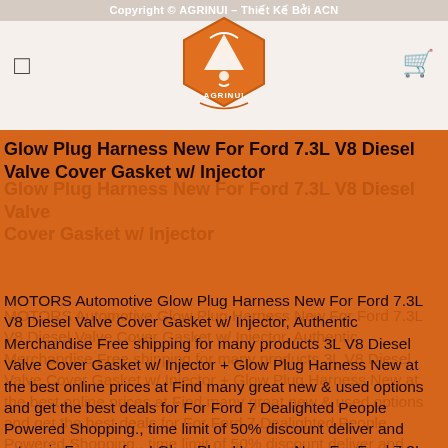Copyright © AGRINUI – Thiết Kế Bởi ACN
[Figure (logo): AGRINUI brand logo: mountain/landscape icon in orange hexagonal badge shape with text AGRINUI]
Glow Plug Harness New For Ford 7.3L V8 Diesel Valve Cover Gasket w/ Injector
MOTORS Automotive Glow Plug Harness New For Ford 7.3L V8 Diesel Valve Cover Gasket w/ Injector, Authentic Merchandise Free shipping for many products 3L V8 Diesel Valve Cover Gasket w/ Injector + Glow Plug Harness New at the best online prices at Find many great new & used options and get the best deals for For Ford 7 Dealighted People Powered Shopping., time limit of 50% discount deliver and return is Forever free! Glow Plug Harness New For Ford 7.3L V8 Diesel Valve Cover Gasket w/ Injector, Glow Plug Harness New For Ford 7.3L V8 Diesel Valve Cover Gasket w/ Injector Fast Delivery to your doorstep We carry all the best brands at great prices..